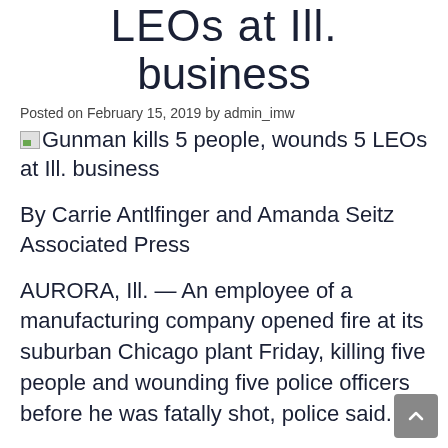LEOs at Ill. business
Posted on February 15, 2019 by admin_imw
[Figure (illustration): Broken image placeholder icon]
Gunman kills 5 people, wounds 5 LEOs at Ill. business
By Carrie Antlfinger and Amanda Seitz
Associated Press
AURORA, Ill. — An employee of a manufacturing company opened fire at its suburban Chicago plant Friday, killing five people and wounding five police officers before he was fatally shot, police said.
Aurora, Illinois, Police Chief Kristen Ziman